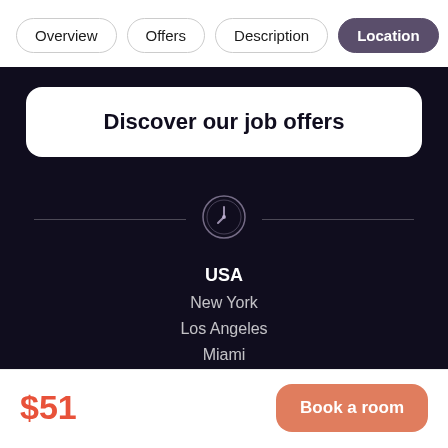Overview | Offers | Description | Location
Discover our job offers
[Figure (logo): Circular logo icon with a stylized letter Y or clock hand, rendered in a muted purple/lavender color on dark background, placed between two horizontal divider lines]
USA
New York
Los Angeles
Miami
$51
Book a room